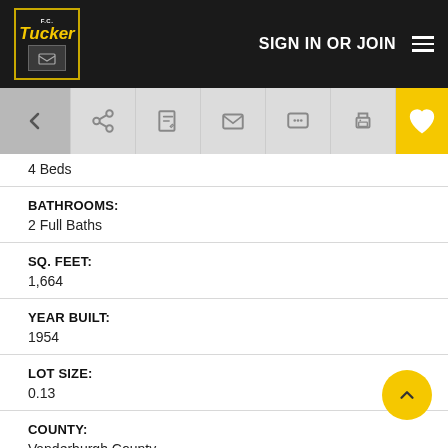F.C. Tucker | SIGN IN OR JOIN
[Figure (screenshot): Navigation toolbar with back arrow, share, edit, email, message, print, and favorite (heart) icons]
4 Beds
BATHROOMS:
2 Full Baths
SQ. FEET:
1,664
YEAR BUILT:
1954
LOT SIZE:
0.13
COUNTY:
Vanderburgh County
TOWNSHIP: